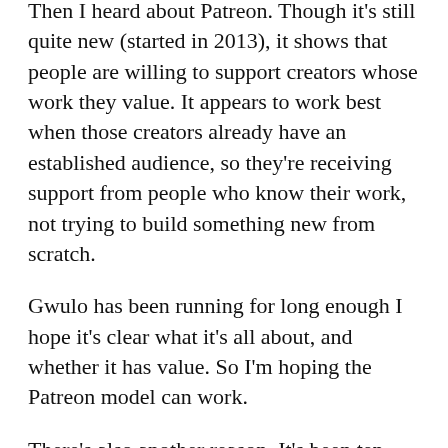Then I heard about Patreon. Though it's still quite new (started in 2013), it shows that people are willing to support creators whose work they value. It appears to work best when those creators already have an established audience, so they're receiving support from people who know their work, not trying to build something new from scratch.
Gwulo has been running for long enough I hope it's clear what it's all about, and whether it has value. So I'm hoping the Patreon model can work.
There's also another reason. It's been ten years since I wrote that first post about the air raid shelters under Kowloon Park. That starts me thinking about the next ten years. Then coincidentally I've been asked about 'sustainability' by several people recently. (Not